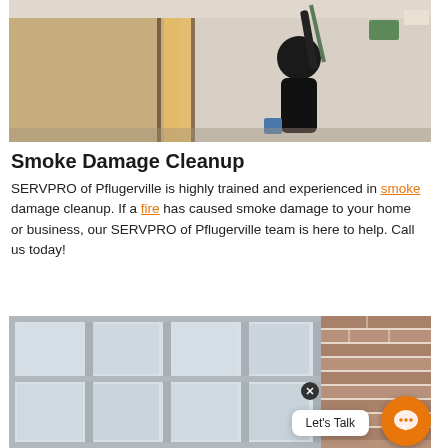[Figure (photo): Person using a long-handled tool to clean or paint a ceiling/wall in a room with a doorway visible and colorful decorations in the background.]
Smoke Damage Cleanup
SERVPRO of Pflugerville is highly trained and experienced in smoke damage cleanup. If a fire has caused smoke damage to your home or business, our SERVPRO of Pflugerville team is here to help. Call us today!
[Figure (photo): Interior room with large floor-to-ceiling windows and brick wall visible on the right side.]